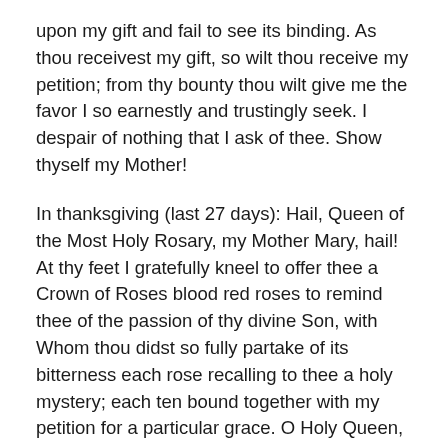upon my gift and fail to see its binding. As thou receivest my gift, so wilt thou receive my petition; from thy bounty thou wilt give me the favor I so earnestly and trustingly seek. I despair of nothing that I ask of thee. Show thyself my Mother!
In thanksgiving (last 27 days): Hail, Queen of the Most Holy Rosary, my Mother Mary, hail! At thy feet I gratefully kneel to offer thee a Crown of Roses blood red roses to remind thee of the passion of thy divine Son, with Whom thou didst so fully partake of its bitterness each rose recalling to thee a holy mystery; each ten bound together with my petition for a particular grace. O Holy Queen, dispenser of God's graces, and Mother of all who invoke thee! Thou canst not look upon my gift and fail to see its binding. As thou receivest my gift, so wilt thou receive my thanksgiving;